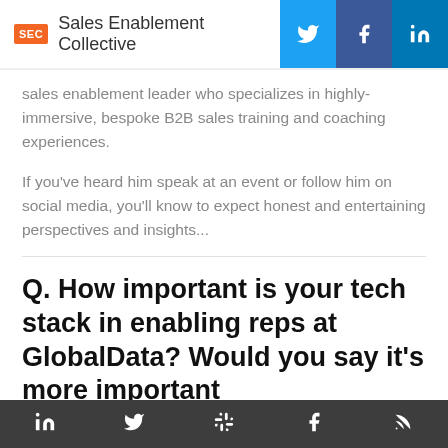Sales Enablement Collective
sales enablement leader who specializes in highly-immersive, bespoke B2B sales training and coaching experiences.
If you've heard him speak at an event or follow him on social media, you'll know to expect honest and entertaining perspectives and insights...
Q. How important is your tech stack in enabling reps at GlobalData? Would you say it's more important
LinkedIn Twitter Slack Facebook RSS